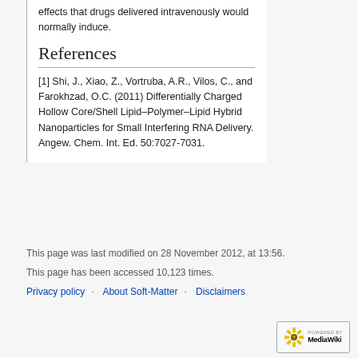effects that drugs delivered intravenously would normally induce.
References
[1] Shi, J., Xiao, Z., Vortruba, A.R., Vilos, C., and Farokhzad, O.C. (2011) Differentially Charged Hollow Core/Shell Lipid–Polymer–Lipid Hybrid Nanoparticles for Small Interfering RNA Delivery. Angew. Chem. Int. Ed. 50:7027-7031.
This page was last modified on 28 November 2012, at 13:56.
This page has been accessed 10,123 times.
Privacy policy · About Soft-Matter · Disclaimers